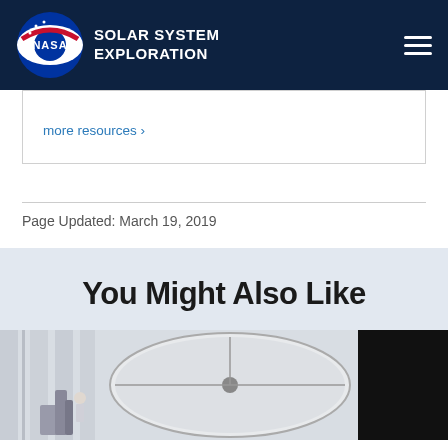NASA Solar System Exploration
more resources ›
Page Updated: March 19, 2019
You Might Also Like
[Figure (photo): Spacecraft dish antenna in a white room or testing facility, with a large circular dish visible; a dark panel on the right side]